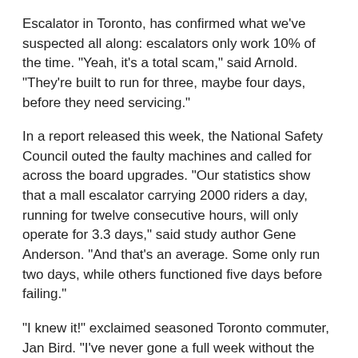Escalator in Toronto, has confirmed what we've suspected all along: escalators only work 10% of the time. "Yeah, it's a total scam," said Arnold.  "They're built to run for three, maybe four days, before they need servicing."
In a report released this week, the National Safety Council outed the faulty machines and called for across the board upgrades. "Our statistics show that a mall escalator carrying 2000 riders a day, running for twelve consecutive hours, will only operate for 3.3 days," said study author Gene Anderson.   "And that's an average.  Some only run two days, while others functioned five days before failing."
"I knew it!" exclaimed seasoned Toronto commuter, Jan Bird. "I've never gone a full week without the escalator at Dupont Station breaking down.  Not only is it a pain in the ass, but people don't seem to know what to do when they step onto the broken stairs.  Just the other day, it took an able-bodied woman blocking my path a good five seconds to resign herself to actually bending